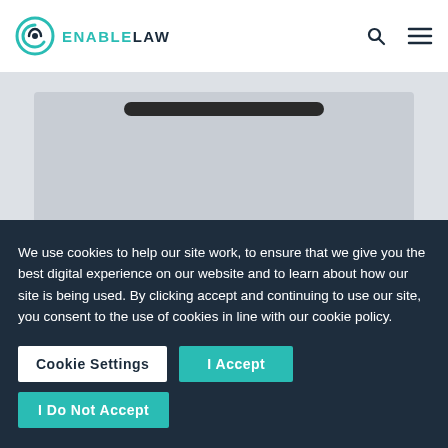ENABLE LAW
[Figure (photo): Partial photo of a dark circular object on a light background, cropped at top]
A medical practitioner at Eldene Surgery in Swindon has been suspended amid concerns that they have been working
We use cookies to help our site work, to ensure that we give you the best digital experience on our website and to learn about how our site is being used. By clicking accept and continuing to use our site, you consent to the use of cookies in line with our cookie policy.
Cookie Settings | I Accept | I Do Not Accept